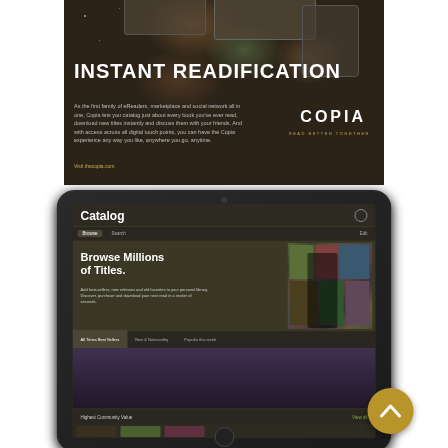[Figure (screenshot): Copia e-reader advertisement with dark brown background, decorative colored circles, devices, large white bold text 'INSTANT READIFICATION', body text about Copia social reading platform, Copia logo in white, 'READ BETTER TOGETHER' tagline in gold, and visit link thecopia.com]
[Figure (screenshot): Tablet device showing Copia app Catalog page with 'Browse Millions of Titles' section, book covers collage, category tabs (All Times Best Sellers, New & Noteworthy, Popular this week), book cover thumbnails including Dan Brown, Mess Up, and others, Highest Community Value bar with View all link, and a gold scroll-up button]